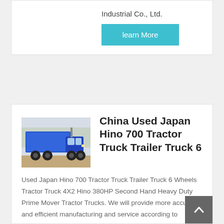Industrial Co., Ltd.
learn More
[Figure (photo): Blue dump truck / tractor truck parked outdoors]
China Used Japan Hino 700 Tractor Truck Trailer Truck 6
Used Japan Hino 700 Tractor Truck Trailer Truck 6 Wheels Tractor Truck 4X2 Hino 380HP Second Hand Heavy Duty Prime Mover Tractor Trucks. We will provide more accurate and efficient manufacturing and service according to customer